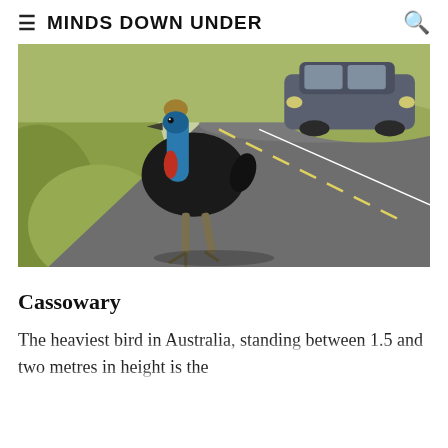≡  MINDS DOWN UNDER
[Figure (photo): A cassowary bird crossing a road with a car visible in the background. The bird has black feathers, a blue and red neck, and a casque on its head. Green grass is visible on the left side of the road.]
Cassowary
The heaviest bird in Australia, standing between 1.5 and two metres in height is the